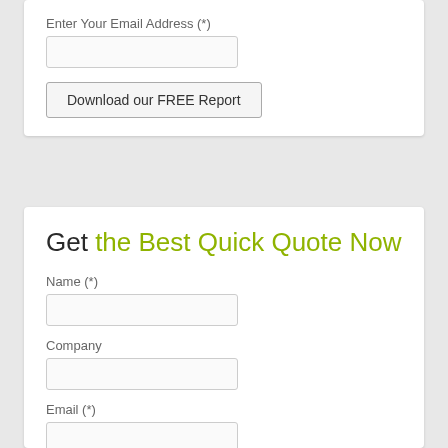Enter Your Email Address (*)
Download our FREE Report
Get the Best Quick Quote Now
Name (*)
Company
Email (*)
Telephone No